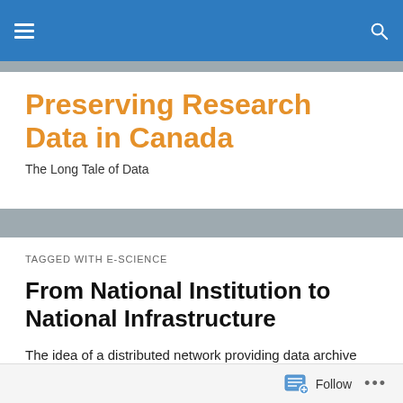Navigation bar with hamburger menu and search icon
Preserving Research Data in Canada
The Long Tale of Data
TAGGED WITH E-SCIENCE
From National Institution to National Infrastructure
The idea of a distributed network providing data archive functions was presented as one of three models in the
Follow ...